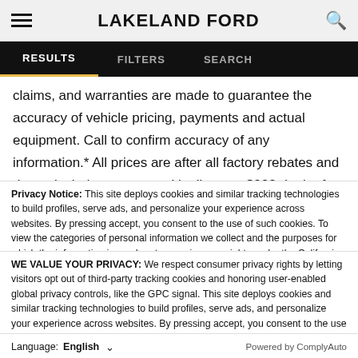LAKELAND FORD
RESULTS   FILTERS   SEARCH
claims, and warranties are made to guarantee the accuracy of vehicle pricing, payments and actual equipment. Call to confirm accuracy of any information.* All prices are after all factory rebates and do not include taxes, tag, title, license, $998 dealer fee, $175 electronic filing fee and dealer installed options. Conditional Price includes $3,000 Cash and
Privacy Notice: This site deploys cookies and similar tracking technologies to build profiles, serve ads, and personalize your experience across websites. By pressing accept, you consent to the use of such cookies. To view the categories of personal information we collect and the purposes for which the information is used, or to exercise your rights under the California Consumer Privacy Act (CCPA), click here. Note that while we do not sell
WE VALUE YOUR PRIVACY: We respect consumer privacy rights by letting visitors opt out of third-party tracking cookies and honoring user-enabled global privacy controls, like the GPC signal. This site deploys cookies and similar tracking technologies to build profiles, serve ads, and personalize your experience across websites. By pressing accept, you consent to the use of such cookies. To manage your privacy rights or view the categories of personal information we collect and the purposes for which the information is used, click here.
Language:   English   Powered by ComplyAuto
Accept and Continue →   Privacy Policy   ×